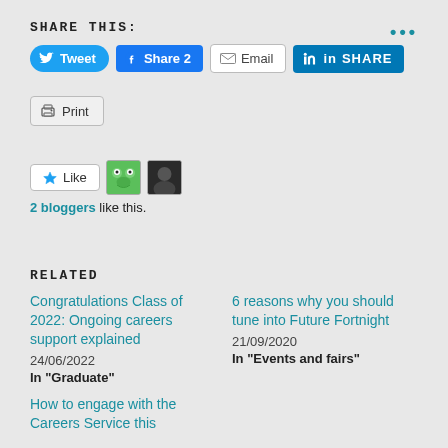SHARE THIS:
[Figure (infographic): Social share buttons: Tweet (Twitter), Share 2 (Facebook), Email, SHARE (LinkedIn)]
[Figure (infographic): Print button]
[Figure (infographic): Like button with 2 blogger avatars (green frog avatar and dark avatar)]
2 bloggers like this.
RELATED
Congratulations Class of 2022: Ongoing careers support explained
24/06/2022
In "Graduate"
6 reasons why you should tune into Future Fortnight
21/09/2020
In "Events and fairs"
How to engage with the Careers Service this